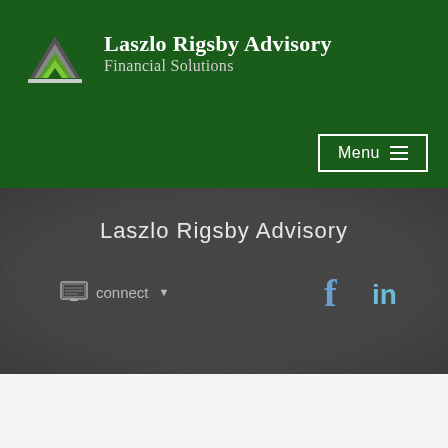[Figure (logo): Laszlo Rigsby Advisory Financial Solutions logo with stylized layered triangular icon and text on dark green background]
Laszlo Rigsby Advisory
connect ▾
[Figure (logo): Facebook and LinkedIn social media icons]
Print
What's Your Retirement Dreams